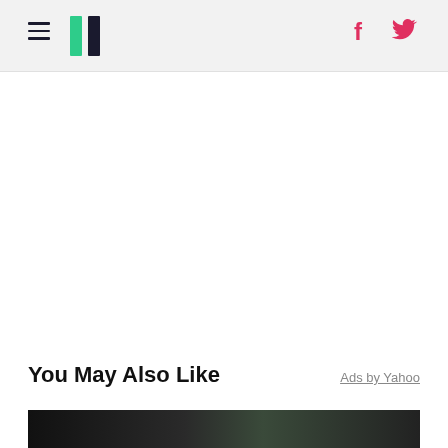HuffPost navigation with hamburger menu, logo, Facebook and Twitter icons
You May Also Like
Ads by Yahoo
[Figure (photo): Dark image strip at the bottom, appears to be an interior scene]